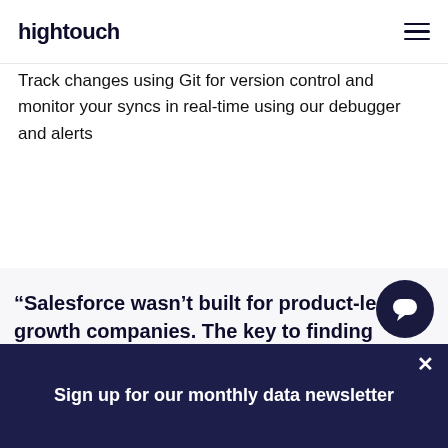hightouch
Track changes using Git for version control and monitor your syncs in real-time using our debugger and alerts
“Salesforce wasn’t built for product-led growth companies. The key to finding qualified leads across Zeplin’s millions of users is looking at product usage
Sign up for our monthly data newsletter